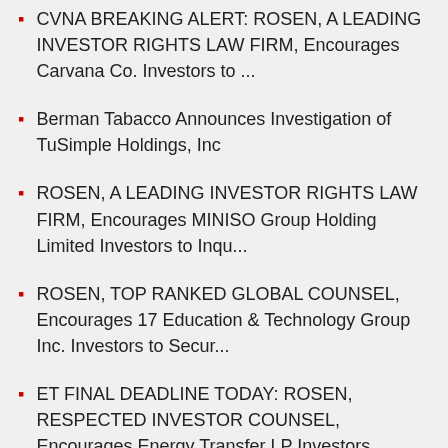CVNA BREAKING ALERT: ROSEN, A LEADING INVESTOR RIGHTS LAW FIRM, Encourages Carvana Co. Investors to ...
Berman Tabacco Announces Investigation of TuSimple Holdings, Inc
ROSEN, A LEADING INVESTOR RIGHTS LAW FIRM, Encourages MINISO Group Holding Limited Investors to Inqu...
ROSEN, TOP RANKED GLOBAL COUNSEL, Encourages 17 Education & Technology Group Inc. Investors to Secur...
ET FINAL DEADLINE TODAY: ROSEN, RESPECTED INVESTOR COUNSEL, Encourages Energy Transfer LP Investors ...
XRAY FINAL DEADLINE ALERT: ROSEN, NATIONAL TRIAL LAWYERS, Encourages DENTSPLY SIRONA Inc. Investors ...
LMPX FINAL DEADLINE ALERT: ROSEN, TRUSTED NATIONAL TRIAL COUNSEL,